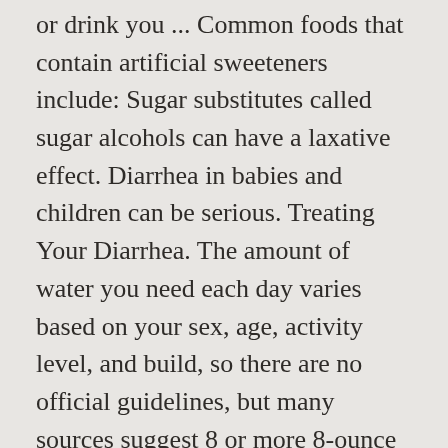or drink you ... Common foods that contain artificial sweeteners include: Sugar substitutes called sugar alcohols can have a laxative effect. Diarrhea in babies and children can be serious. Treating Your Diarrhea. The amount of water you need each day varies based on your sex, age, activity level, and build, so there are no official guidelines, but many sources suggest 8 or more 8-ounce glasses per day. Many people also add other digestive stimulants to their coffee, such as milk, sugar substitutes, or creamers, which increases the beverage's laxative effect. Lactose intolerance means that your body doesn't have the enzymes to break down certain sugars in dairy. (No pun